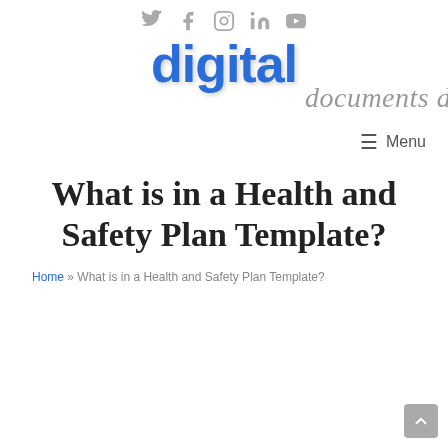Social media icons: Twitter, Facebook, Instagram, LinkedIn, YouTube
[Figure (logo): Digital Documents Direct logo with blue bold 'digital' text and grey italic 'documents direct' script]
≡ Menu
What is in a Health and Safety Plan Template?
Home » What is in a Health and Safety Plan Template?